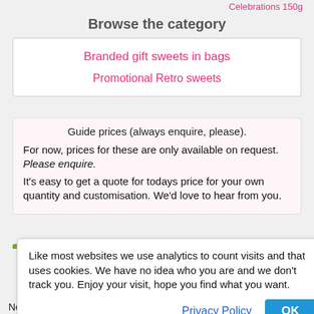Celebrations 150g
Browse the category
Branded gift sweets in bags
Promotional Retro sweets
Guide prices (always enquire, please).
For now, prices for these are only available on request. Please enquire.
It's easy to get a quote for todays price for your own quantity and customisation. We'd love to hear from you.
Like most websites we use analytics to count visits and that uses cookies. We have no idea who you are and we don't track you. Enjoy your visit, hope you find what you want.
Privacy Policy  OK
No tracking. This uses your own email privately. No fussy